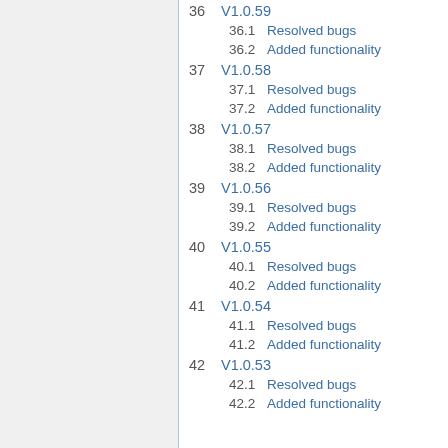36   V1.0.59
36.1  Resolved bugs
36.2  Added functionality
37   V1.0.58
37.1  Resolved bugs
37.2  Added functionality
38   V1.0.57
38.1  Resolved bugs
38.2  Added functionality
39   V1.0.56
39.1  Resolved bugs
39.2  Added functionality
40   V1.0.55
40.1  Resolved bugs
40.2  Added functionality
41   V1.0.54
41.1  Resolved bugs
41.2  Added functionality
42   V1.0.53
42.1  Resolved bugs
42.2  Added functionality